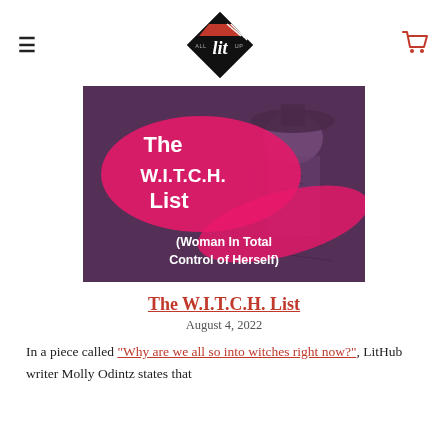All Lit Up (logo, hamburger menu, cart icon)
[Figure (illustration): Cover image for The W.I.T.C.H. List article. Dark purple/gray background featuring an engraving-style illustration of a woman in a wide-brimmed hat. Overlaid with a large hot-pink paint stroke shape. White bold text reads 'The W.I.T.C.H. List' and '(Woman In Total Control of Herself)'.]
The W.I.T.C.H. List
August 4, 2022
In a piece called "Why are we all so into witches right now?", LitHub writer Molly Odintz states that